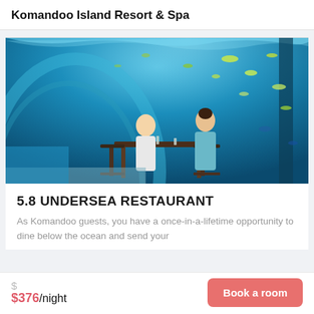Komandoo Island Resort & Spa
[Figure (photo): Underwater restaurant photo showing a couple dining inside a glass tunnel submerged under the ocean, surrounded by blue water and fish]
5.8 UNDERSEA RESTAURANT
As Komandoo guests, you have a once-in-a-lifetime opportunity to dine below the ocean and send your
$376/night
Book a room